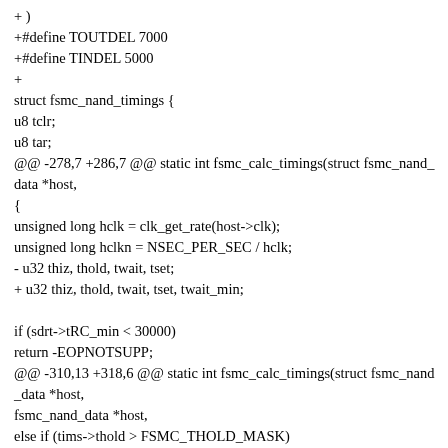+ )
+#define TOUTDEL 7000
+#define TINDEL 5000
+
struct fsmc_nand_timings {
u8 tclr;
u8 tar;
@@ -278,7 +286,7 @@ static int fsmc_calc_timings(struct fsmc_nand_data *host,
{
unsigned long hclk = clk_get_rate(host->clk);
unsigned long hclkn = NSEC_PER_SEC / hclk;
- u32 thiz, thold, twait, tset;
+ u32 thiz, thold, twait, tset, twait_min;

if (sdrt->tRC_min < 30000)
return -EOPNOTSUPP;
@@ -310,13 +318,6 @@ static int fsmc_calc_timings(struct fsmc_nand_data *host,
fsmc_nand_data *host,
else if (tims->thold > FSMC_THOLD_MASK)
tims->thold = FSMC_THOLD_MASK;

- twait = max(sdrt->tRP_min, sdrt->tWP_min);
- tims->twait = DIV_ROUND_UP(twait / 1000, hclkn) - 1;
- if (tims->twait == 0)
- tims->twait = 1;